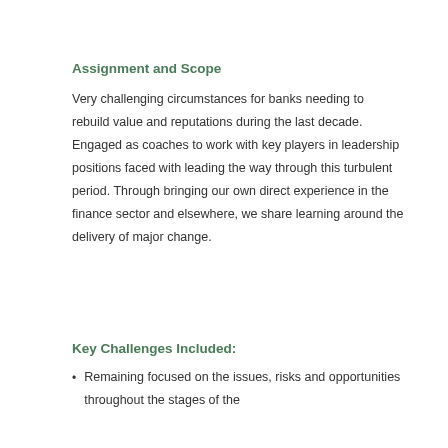Assignment and Scope
Very challenging circumstances for banks needing to rebuild value and reputations during the last decade. Engaged as coaches to work with key players in leadership positions faced with leading the way through this turbulent period. Through bringing our own direct experience in the finance sector and elsewhere, we share learning around the delivery of major change.
Key Challenges Included:
Remaining focused on the issues, risks and opportunities throughout the stages of the